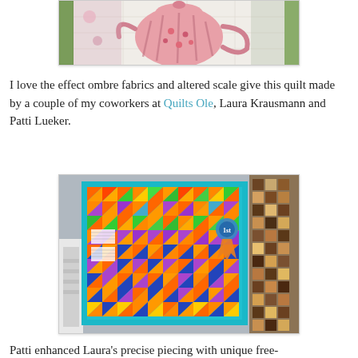[Figure (photo): Partial view of a quilt with applique teapot design on pink fabric with green and floral borders, cropped at top of page]
I love the effect ombre fabrics and altered scale give this quilt made by a couple of my coworkers at Quilts Ole, Laura Krausmann and Patti Lueker.
[Figure (photo): Colorful quilt displayed at a show featuring a grid of half-square triangles in orange, yellow, green, purple, and blue colors on a teal/turquoise background border, with a blue ribbon award visible on the right side]
Patti enhanced Laura's precise piecing with unique free-